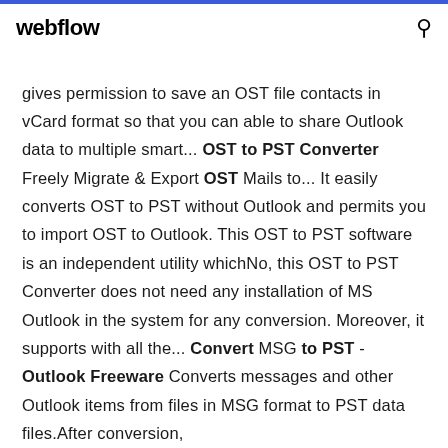webflow
gives permission to save an OST file contacts in vCard format so that you can able to share Outlook data to multiple smart... OST to PST Converter Freely Migrate & Export OST Mails to... It easily converts OST to PST without Outlook and permits you to import OST to Outlook. This OST to PST software is an independent utility whichNo, this OST to PST Converter does not need any installation of MS Outlook in the system for any conversion. Moreover, it supports with all the... Convert MSG to PST - Outlook Freeware Converts messages and other Outlook items from files in MSG format to PST data files.After conversion, the resulting PST files can be converted to...